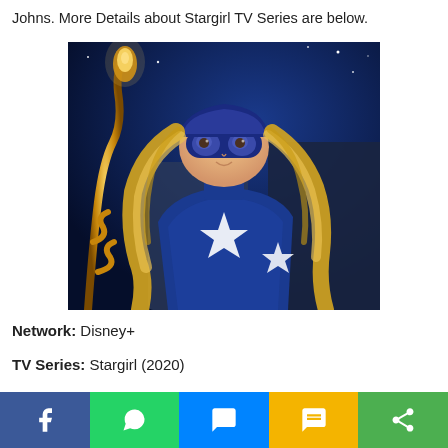Johns. More Details about Stargirl TV Series are below.
[Figure (photo): Promotional photo of Stargirl character in blue superhero costume with star emblem and blue mask, holding a cosmic staff, against a starry night background]
Network: Disney+
TV Series: Stargirl (2020)
[Figure (other): Social sharing bar with Facebook, WhatsApp, Messenger, SMS, and Share buttons]